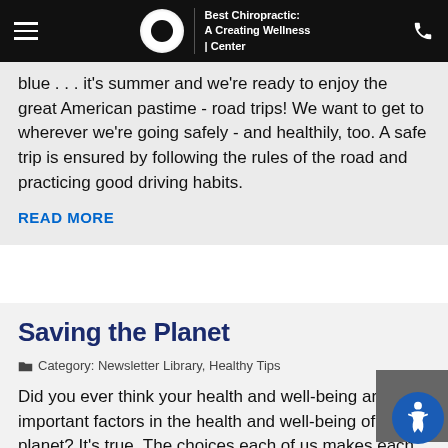Best Chiropractic: A Creating Wellness Center
blue . . . it's summer and we're ready to enjoy the great American pastime - road trips! We want to get to wherever we're going safely - and healthily, too. A safe trip is ensured by following the rules of the road and practicing good driving habits.
READ MORE
Saving the Planet
Category: Newsletter Library, Healthy Tips
Did you ever think your health and well-being are important factors in the health and well-being of the planet? It's true. The choices each of us makes each and every day are important for our family's welfare as well as the welfare of our neighborhood, our community, and our planet as a whole.